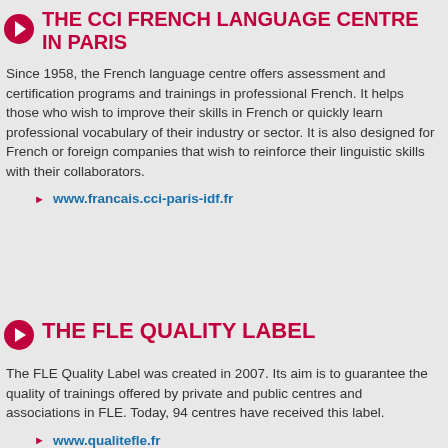THE CCI FRENCH LANGUAGE CENTRE IN PARIS
Since 1958, the French language centre offers assessment and certification programs and trainings in professional French. It helps those who wish to improve their skills in French or quickly learn professional vocabulary of their industry or sector. It is also designed for French or foreign companies that wish to reinforce their linguistic skills with their collaborators.
www.francais.cci-paris-idf.fr
THE FLE QUALITY LABEL
The FLE Quality Label was created in 2007. Its aim is to guarantee the quality of trainings offered by private and public centres and associations in FLE. Today, 94 centres have received this label.
www.qualitefle.fr